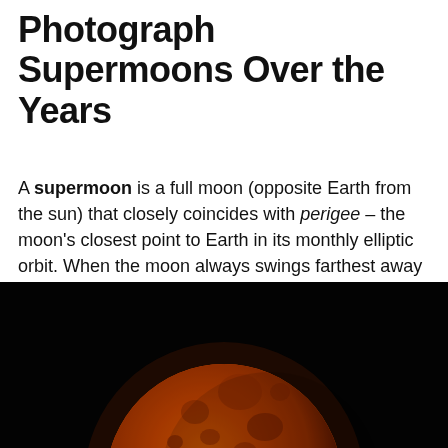Photograph Supermoons Over the Years
A supermoon is a full moon (opposite Earth from the sun) that closely coincides with perigee – the moon's closest point to Earth in its monthly elliptic orbit. When the moon always swings farthest away from Earth once each month; that point is called apogee. These perigee, or
[Figure (photo): Large orange-red supermoon photographed against a dark black night sky, showing crater details on the lunar surface.]